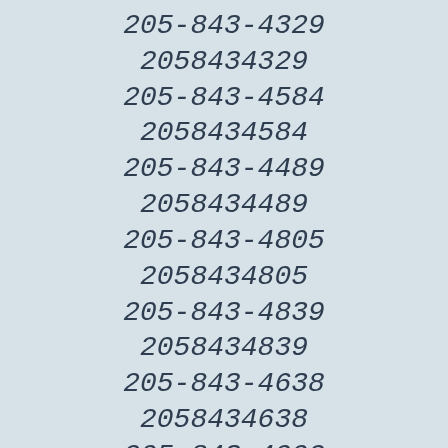205-843-4329
2058434329
205-843-4584
2058434584
205-843-4489
2058434489
205-843-4805
2058434805
205-843-4839
2058434839
205-843-4638
2058434638
205-843-4992
2058434992
205-843-4020
2058434020